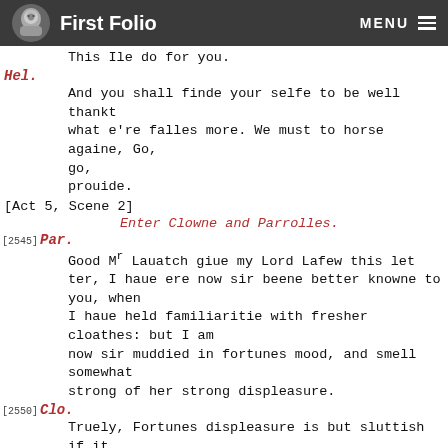First Folio  MENU
This Ile do for you.
Hel.
And you shall finde your selfe to be well thankt what e're falles more. We must to horse againe, Go, go,
prouide.
[Act 5, Scene 2]
Enter Clowne and Parrolles.
[2545] Par.
Good M r Lauatch giue my Lord Lafew this let ter, I haue ere now sir beene better knowne to you, when
I haue held familiaritie with fresher cloathes: but I am
now sir muddied in fortunes mood, and smell somewhat
strong of her strong displeasure.
[2550] Clo.
Truely, Fortunes displeasure is but sluttish if it smell so strongly as thou speak'st of: I will henceforth
eate no Fish of Fortunes butt'ring. Prethee alow the winde.